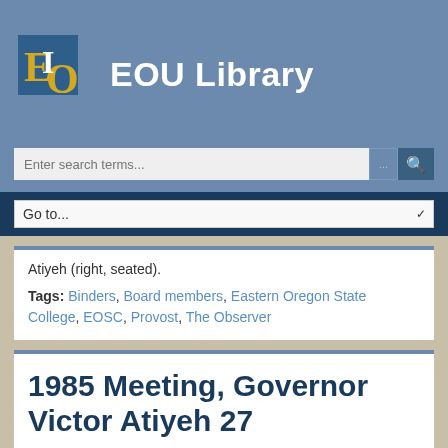EOU Library
Atiyeh (right, seated).
Tags: Binders, Board members, Eastern Oregon State College, EOSC, Provost, The Observer
1985 Meeting, Governor Victor Atiyeh 27
"4/1985 - Governor Vic Atiyeh visits [Oregon governor 1979-1987]"